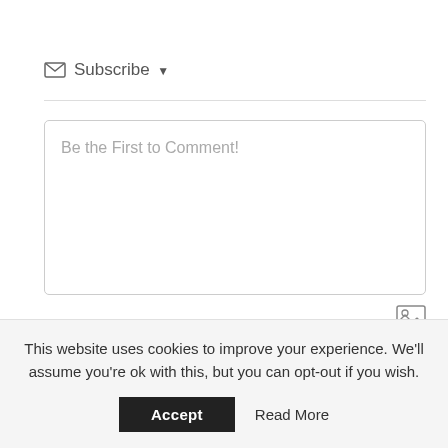Subscribe ▼
Be the First to Comment!
0 COMMENTS
This website uses cookies to improve your experience. We'll assume you're ok with this, but you can opt-out if you wish.
Accept
Read More